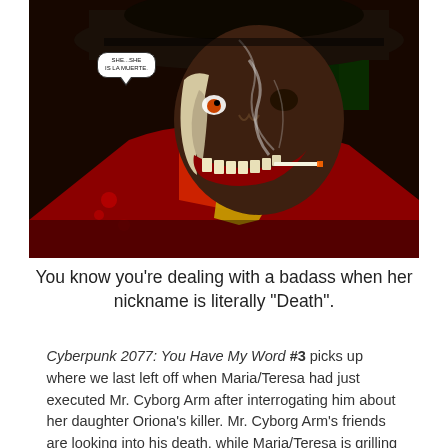[Figure (illustration): Comic book panel showing a dark, sinister character wearing a wide-brimmed hat with a skeletal/decayed face holding a cigarette; a speech bubble reads 'SHE...SHE IS LA MUERTE.']
You know you're dealing with a badass when her nickname is literally “Death”.
Cyberpunk 2077: You Have My Word #3 picks up where we last left off when Maria/Teresa had just executed Mr. Cyborg Arm after interrogating him about her daughter Oriona’s killer. Mr. Cyborg Arm’s friends are looking into his death, while Maria/Teresa is grilling her daughter’s girlfriend (assuming she is who she says she is) about her role in Oriona’s death at a local ripperdoc’s